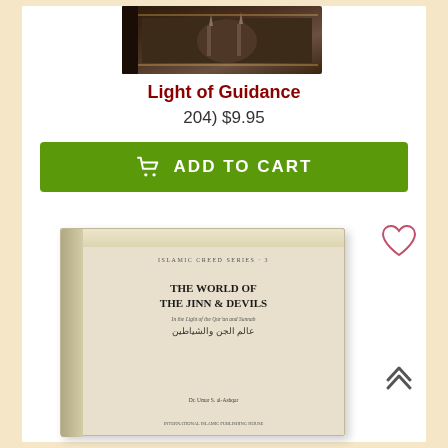[Figure (photo): Book cover for 'Light of Guidance' shown at top of page]
Light of Guidance
204) $9.95
[Figure (other): Green 'ADD TO CART' button with shopping cart icon]
[Figure (photo): Book cover for 'The World of the Jinn & Devils' from Islamic Creed Series #3 by Dr. Umar S. al-Ashqar]